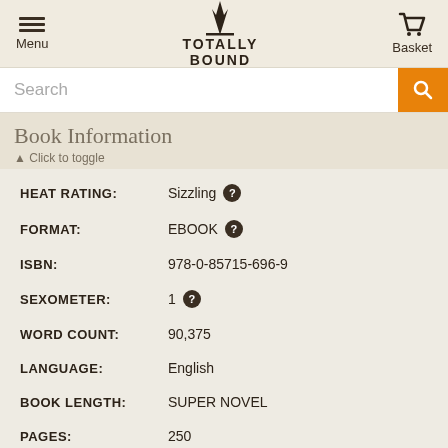Menu | TOTALLY BOUND | Basket
Search
Book Information
▲ Click to toggle
| Field | Value |
| --- | --- |
| HEAT RATING: | Sizzling |
| FORMAT: | EBOOK |
| ISBN: | 978-0-85715-696-9 |
| SEXOMETER: | 1 |
| WORD COUNT: | 90,375 |
| LANGUAGE: | English |
| BOOK LENGTH: | SUPER NOVEL |
| PAGES: | 250 |
| GENRES: | EROTIC ROMANCE |